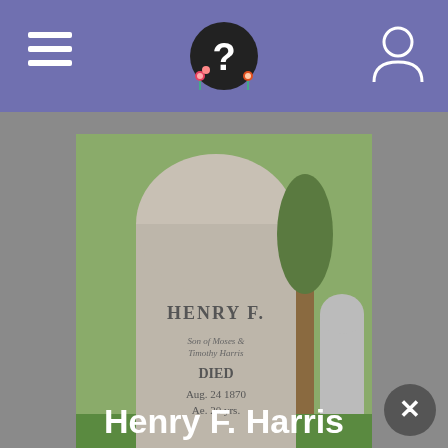Header bar with hamburger menu, logo, and user icon
[Figure (photo): Gravestone photo of Henry F. Harris showing carved text 'HENRY F.' and 'DIED Aug 24 1870 Ae 20 yrs']
Photo added by John Glassford
Henry F. Harris
BIRTH  1850
DEATH  24 Aug 1870 (aged 19-20)
BURIAL  Old Burying Ground